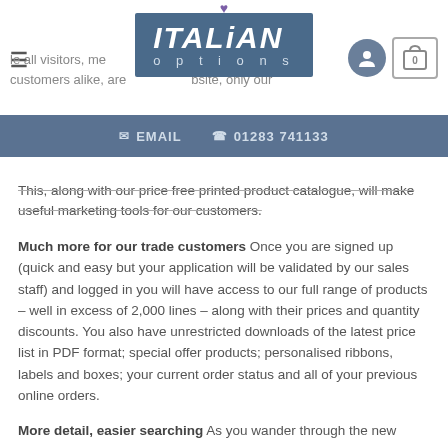Italian Options website header with logo, EMAIL and 01283 741133 contact details
This, along with our price free printed product catalogue, will make useful marketing tools for our customers.
Much more for our trade customers Once you are signed up (quick and easy but your application will be validated by our sales staff) and logged in you will have access to our full range of products – well in excess of 2,000 lines – along with their prices and quantity discounts. You also have unrestricted downloads of the latest price list in PDF format; special offer products; personalised ribbons, labels and boxes; your current order status and all of your previous online orders.
More detail, easier searching As you wander through the new website you will see much more product information and bigger,